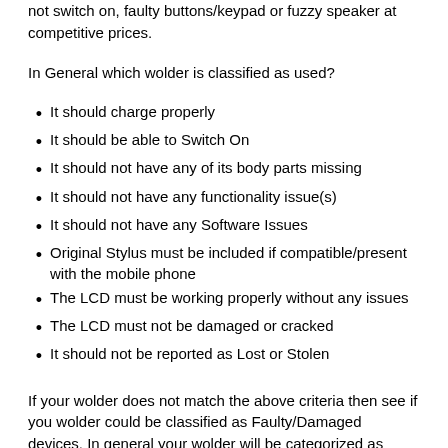not switch on, faulty buttons/keypad or fuzzy speaker at competitive prices.
In General which wolder is classified as used?
It should charge properly
It should be able to Switch On
It should not have any of its body parts missing
It should not have any functionality issue(s)
It should not have any Software Issues
Original Stylus must be included if compatible/present with the mobile phone
The LCD must be working properly without any issues
The LCD must not be damaged or cracked
It should not be reported as Lost or Stolen
If your wolder does not match the above criteria then see if you wolder could be classified as Faulty/Damaged devices. In general your wolder will be categorized as Faulty/Damaged if:
It is not crushed or broken